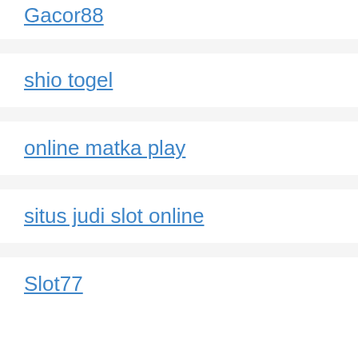Gacor88
shio togel
online matka play
situs judi slot online
Slot77